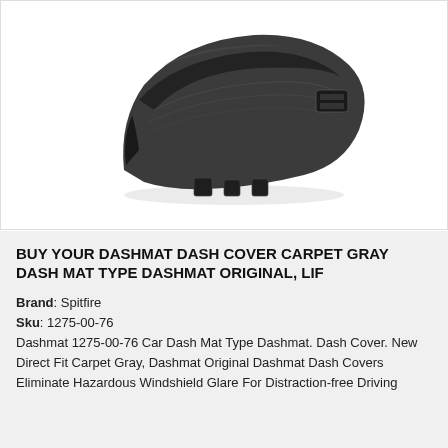[Figure (photo): Black carpet dash mat / dashboard cover product photo on white background, angled view showing textured surface and contoured shape]
BUY YOUR DASHMAT DASH COVER CARPET GRAY DASH MAT TYPE DASHMAT ORIGINAL, LIF
Brand: Spitfire
Sku: 1275-00-76
Dashmat 1275-00-76 Car Dash Mat Type Dashmat. Dash Cover. New Direct Fit Carpet Gray, Dashmat Original Dashmat Dash Covers Eliminate Hazardous Windshield Glare For Distraction-free Driving